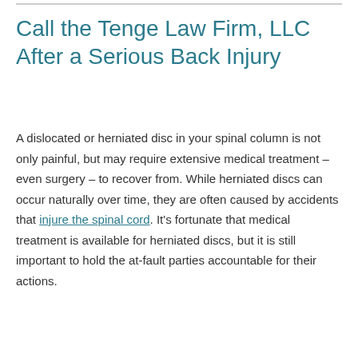Call the Tenge Law Firm, LLC After a Serious Back Injury
A dislocated or herniated disc in your spinal column is not only painful, but may require extensive medical treatment – even surgery – to recover from. While herniated discs can occur naturally over time, they are often caused by accidents that injure the spinal cord. It's fortunate that medical treatment is available for herniated discs, but it is still important to hold the at-fault parties accountable for their actions.